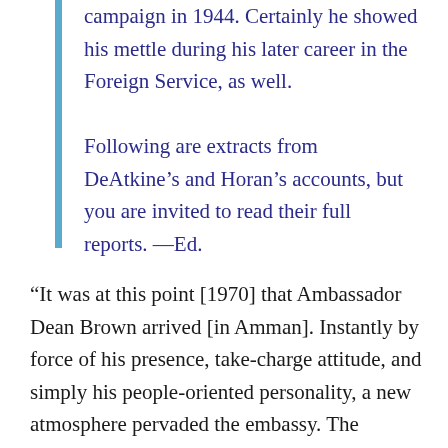campaign in 1944. Certainly he showed his mettle during his later career in the Foreign Service, as well.

Following are extracts from DeAtkine’s and Horan’s accounts, but you are invited to read their full reports. —Ed.
“It was at this point [1970] that Ambassador Dean Brown arrived [in Amman]. Instantly by force of his presence, take-charge attitude, and simply his people-oriented personality, a new atmosphere pervaded the embassy. The